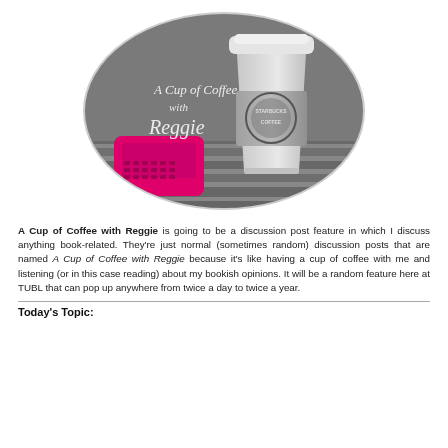[Figure (illustration): Oval-shaped black and white photo of a Starbucks coffee cup and a pink BlackBerry phone on a wooden surface, with script text overlay reading 'A Cup of Coffee with Reggie']
A Cup of Coffee with Reggie is going to be a discussion post feature in which I discuss anything book-related. They're just normal (sometimes random) discussion posts that are named A Cup of Coffee with Reggie because it's like having a cup of coffee with me and listening (or in this case reading) about my bookish opinions. It will be a random feature here at TUBL that can pop up anywhere from twice a day to twice a year.
Today's Topic: